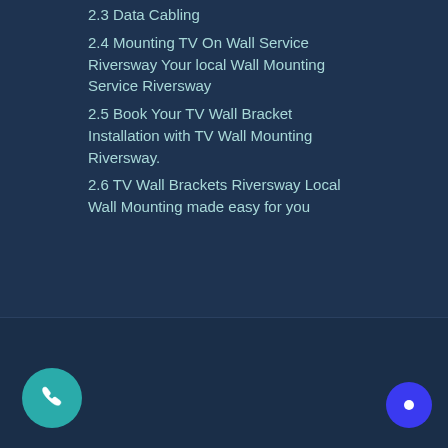2.3 Data Cabling
2.4 Mounting TV On Wall Service Riversway Your local Wall Mounting Service Riversway
2.5 Book Your TV Wall Bracket Installation with TV Wall Mounting Riversway.
2.6 TV Wall Brackets Riversway Local Wall Mounting made easy for you
© 2022 TV Wall Mounting service near Me  TV Wall Mounts